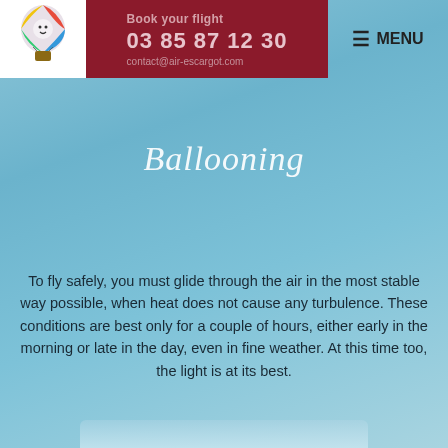[Figure (logo): Air Escargot hot air balloon company logo with cartoon snail character in a balloon basket]
Book your flight
03 85 87 12 30
contact@air-escargot.com
MENU
Ballooning
To fly safely, you must glide through the air in the most stable way possible, when heat does not cause any turbulence. These conditions are best only for a couple of hours, either early in the morning or late in the day, even in fine weather. At this time too, the light is at its best.